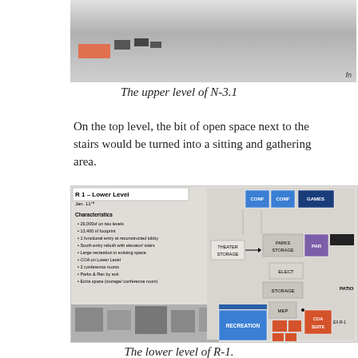[Figure (photo): Architectural model photo showing the upper level of N-3.1 building design]
The upper level of N-3.1
On the top level, the bit of open space next to the stairs would be turned into a sitting and gathering area.
[Figure (schematic): Floor plan schematic labeled 'R1–Lower Level, Jan. 11'. Characteristics listed: 26,000sf on two levels, 13,400 sf footprint, 1 functional entry at reconstructed lobby, South entry rebuilt with elevator/stairs, Large recreation in existing space, COA on Lower Level, 2 conference rooms, Parks & Rec by exit, Extra space (storage/conference room). Floor plan shows labeled rooms: THEATER STORAGE, CONF, CONF, GAMES, PARKS STORAGE, PAR, ELECT, STORAGE, MEP, COA SUITE, RECREATION, PATIO, EX.R-1.]
The lower level of R-1.
The R1 is the first of the renovation options, and reuses both the 1910 and 1934 buildings. The COA would